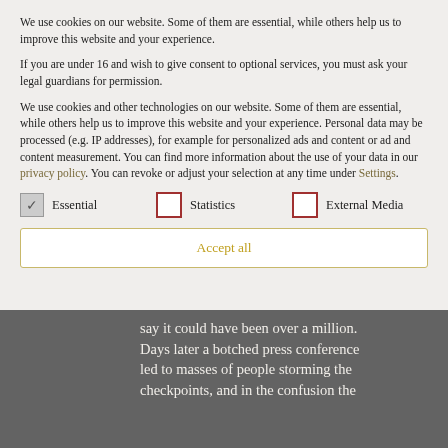We use cookies on our website. Some of them are essential, while others help us to improve this website and your experience.
If you are under 16 and wish to give consent to optional services, you must ask your legal guardians for permission.
We use cookies and other technologies on our website. Some of them are essential, while others help us to improve this website and your experience. Personal data may be processed (e.g. IP addresses), for example for personalized ads and content or ad and content measurement. You can find more information about the use of your data in our privacy policy. You can revoke or adjust your selection at any time under Settings.
Essential  Statistics  External Media
Accept all
say it could have been over a million. Days later a botched press conference led to masses of people storming the checkpoints, and in the confusion the